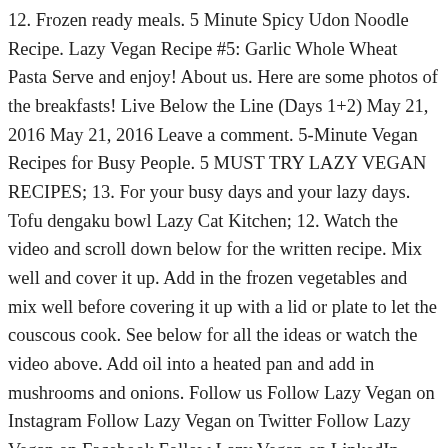12. Frozen ready meals. 5 Minute Spicy Udon Noodle Recipe. Lazy Vegan Recipe #5: Garlic Whole Wheat Pasta Serve and enjoy! About us. Here are some photos of the breakfasts! Live Below the Line (Days 1+2) May 21, 2016 May 21, 2016 Leave a comment. 5-Minute Vegan Recipes for Busy People. 5 MUST TRY LAZY VEGAN RECIPES; 13. For your busy days and your lazy days. Tofu dengaku bowl Lazy Cat Kitchen; 12. Watch the video and scroll down below for the written recipe. Mix well and cover it up. Add in the frozen vegetables and mix well before covering it up with a lid or plate to let the couscous cook. See below for all the ideas or watch the video above. Add oil into a heated pan and add in mushrooms and onions. Follow us Follow Lazy Vegan on Instagram Follow Lazy Vegan on Twitter Follow Lazy Vegan on Facebook Follow Lazy Vegan on LinkedIn Follow Lazy Vegan on Pinterest. Add in the frozen vegetables and mix well before covering it up with a lid or plate to let the couscous cook. Today's post will feature some ridiculously easy